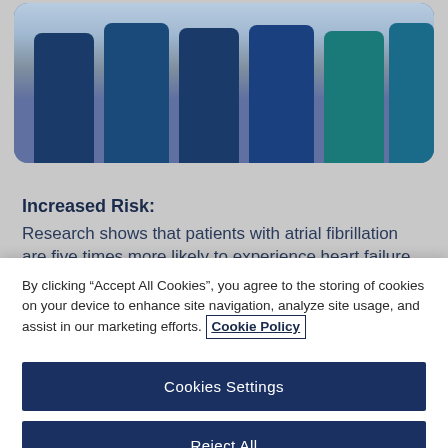[Figure (photo): Photo showing medical staff in blue and teal scrubs standing together, cropped at torso/leg level]
Increased Risk:
Research shows that patients with atrial fibrillation are five times more likely to experience heart failure, 2.4 times more likely to experience stroke, and twice as
By clicking “Accept All Cookies”, you agree to the storing of cookies on your device to enhance site navigation, analyze site usage, and assist in our marketing efforts. Cookie Policy
Cookies Settings
Reject All